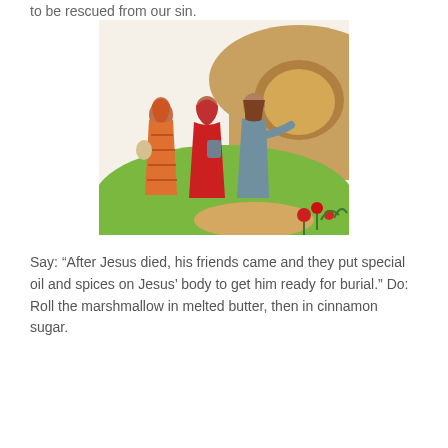to be rescued from our sin.
[Figure (illustration): A colorful illustration from a children's book showing three women in robes walking toward a large round stone near a rocky hillside. The woman on the left wears an orange striped robe, the middle woman wears a red robe and carries a jar, and the right woman wears a blue-grey robe. The landscape has green grass, warm sandy-brown hills, and red flowers at the bottom right.]
Say: “After Jesus died, his friends came and they put special oil and spices on Jesus’ body to get him ready for burial.” Do: Roll the marshmallow in melted butter, then in cinnamon sugar.